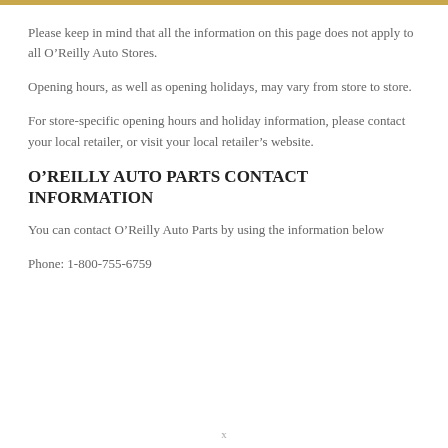Please keep in mind that all the information on this page does not apply to all O’Reilly Auto Stores.
Opening hours, as well as opening holidays, may vary from store to store.
For store-specific opening hours and holiday information, please contact your local retailer, or visit your local retailer’s website.
O’REILLY AUTO PARTS CONTACT INFORMATION
You can contact O’Reilly Auto Parts by using the information below
Phone: 1-800-755-6759
x